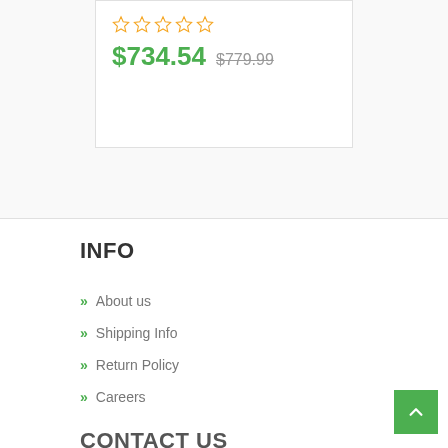[Figure (other): Product card showing 5 empty star ratings, sale price $734.54 and original price $779.99 crossed out]
INFO
About us
Shipping Info
Return Policy
Careers
CONTACT US